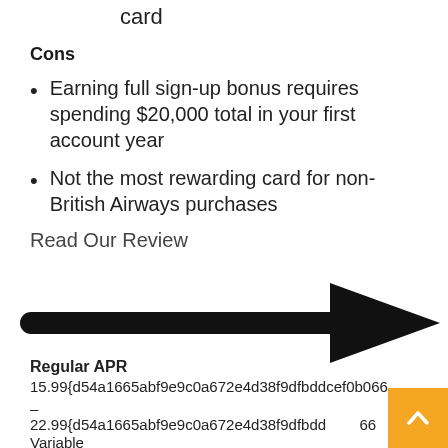card
Cons
Earning full sign-up bonus requires spending $20,000 total in your first account year
Not the most rewarding card for non-British Airways purchases
Read Our Review
[Figure (illustration): A large black right-pointing arrow spanning the width of the content area]
Regular APR
15.99{d54a1665abf9e9c0a672e4d38f9dfbddcef0b066
–
22.99{d54a1665abf9e9c0a672e4d38f9dfbdd...66
Variable